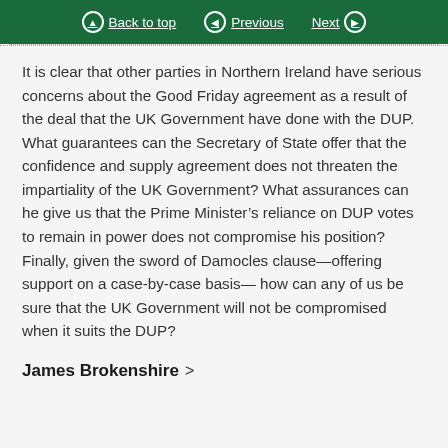Back to top | Previous | Next
It is clear that other parties in Northern Ireland have serious concerns about the Good Friday agreement as a result of the deal that the UK Government have done with the DUP. What guarantees can the Secretary of State offer that the confidence and supply agreement does not threaten the impartiality of the UK Government? What assurances can he give us that the Prime Minister’s reliance on DUP votes to remain in power does not compromise his position? Finally, given the sword of Damocles clause—offering support on a case-by-case basis— how can any of us be sure that the UK Government will not be compromised when it suits the DUP?
James Brokenshire >